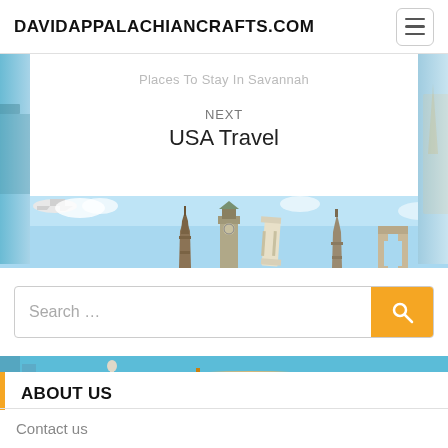DAVIDAPPALACHIANCRAFTS.COM
Places To Stay In Savannah
NEXT
USA Travel
[Figure (illustration): Travel banner showing various world landmarks including the Eiffel Tower, Big Ben, Leaning Tower of Pisa, and other monuments against a blue sky, with a plane flying overhead.]
Search …
[Figure (illustration): Bottom scene showing a coastal landscape with turquoise water, sandy shores, greenery, and the Christ the Redeemer statue on the left side.]
ABOUT US
Contact us